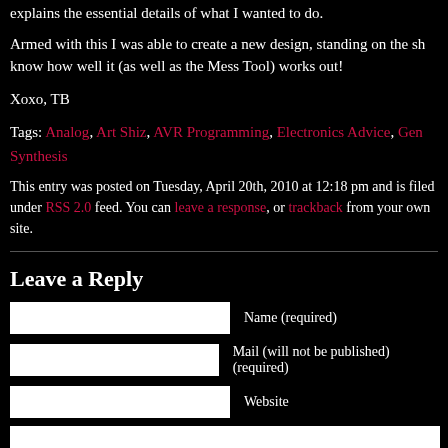explains the essential details of what I wanted to do.
Armed with this I was able to create a new design, standing on the sh know how well it (as well as the Mess Tool) works out!
Xoxo, TB
Tags: Analog, Art Shiz, AVR Programming, Electronics Advice, Gen Synthesis
This entry was posted on Tuesday, April 20th, 2010 at 12:18 pm and is filed under RSS 2.0 feed. You can leave a response, or trackback from your own site.
Leave a Reply
Name (required)
Mail (will not be published) (required)
Website